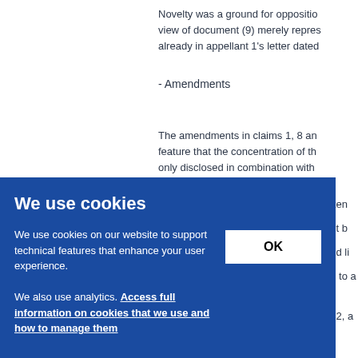Novelty was a ground for opposition view of document (9) merely represents already in appellant 1's letter dated
- Amendments
The amendments in claims 1, 8 and feature that the concentration of the only disclosed in combination with a taten not b and li 22 to a nt 2, a
We use cookies
We use cookies on our website to support technical features that enhance your user experience. We also use analytics. Access full information on cookies that we use and how to manage them